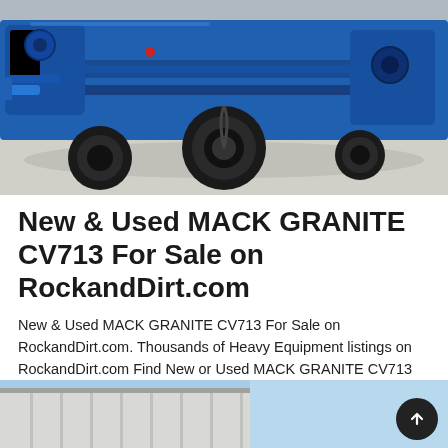[Figure (photo): Photo of a blue MACK GRANITE CV713 heavy truck/equipment on a concrete surface, viewed from a low angle showing the undercarriage, tires, and blue metal frame components.]
New & Used MACK GRANITE CV713 For Sale on RockandDirt.com
New & Used MACK GRANITE CV713 For Sale on RockandDirt.com. Thousands of Heavy Equipment listings on RockandDirt.com Find New or Used MACK GRANITE CV713 on RockandDirt.com. Concrete Mixer, Pump Trucks (2) Concrete Pump Truck (2) Water Trucks (2) Fuel, Lube Trucks (1) Show More. 2006 MACK GRANITE CV713. $91,500 USD. In Kansas City, KS, US
Learn More
[Figure (photo): Partial photo of a building exterior with metal siding and a blue sky, partially visible at the bottom of the page.]